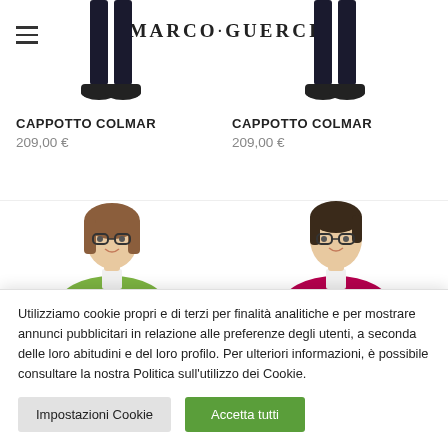MARCO·GUERCI
[Figure (photo): Two fashion model photos (legs/shoes, cropped) side by side showing black pants and shoes]
CAPPOTTO COLMAR
209,00 €
CAPPOTTO COLMAR
209,00 €
[Figure (photo): Two partially visible photos of a woman with glasses wearing a green jacket (left) and a pink/magenta jacket (right)]
Utilizziamo cookie propri e di terzi per finalità analitiche e per mostrare annunci pubblicitari in relazione alle preferenze degli utenti, a seconda delle loro abitudini e del loro profilo. Per ulteriori informazioni, è possibile consultare la nostra Politica sull'utilizzo dei Cookie.